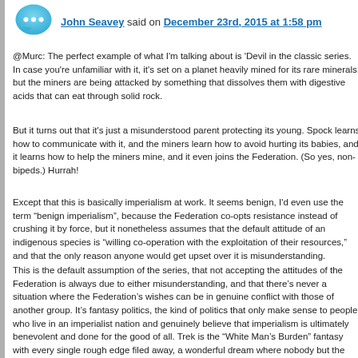John Seavey said on December 23rd, 2015 at 1:58 pm
@Murc: The perfect example of what I'm talking about is 'Devil in the classic series. In case you're unfamiliar with it, it's set on a planet heavily mined for its rare minerals, but the miners are being attacked by something that dissolves them with digestive acids that can eat through solid rock.
But it turns out that it's just a misunderstood parent protecting its young. Spock learns how to communicate with it, and the miners learn how to avoid hurting its babies, and it learns how to help the miners mine, and it even joins the Federation. (So yes, non-bipeds.) Hurrah!
Except that this is basically imperialism at work. It seems benign, I'd even use the term "benign imperialism", because the Federation co-opts resistance instead of crushing it by force, but it nonetheless assumes that the default attitude of an indigenous species is "willing co-operation with the exploitation of their resources," and that the only reason anyone would get upset over it is misunderstanding.
This is the default assumption of the series, that not accepting the attitudes of the Federation is always due to either misunderstanding, and that there's never a situation where the Federation's wishes can be in genuine conflict with those of another group. It's fantasy politics, the kind of politics that only make sense to people who live in an imperialist nation and genuinely believe that imperialism is ultimately benevolent and done for the good of all. Trek is the "White Man's Burden" fantasy with every single rough edge filed away, a wonderful dream where nobody but the Bad Guys ever disputes your values, your priorities or your cultural structure, and you don't ever need to use force to maintain political power because nobody ever disputes a...